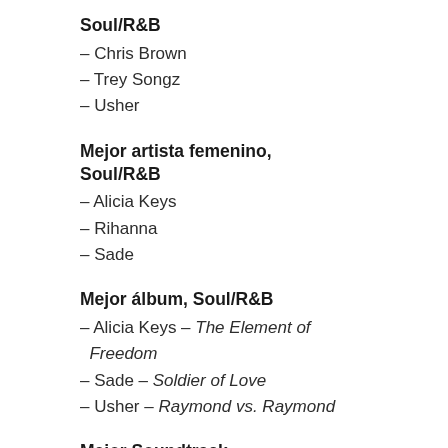Soul/R&B
– Chris Brown
– Trey Songz
– Usher
Mejor artista femenino, Soul/R&B
– Alicia Keys
– Rihanna
– Sade
Mejor álbum, Soul/R&B
– Alicia Keys – The Element of Freedom
– Sade – Soldier of Love
– Usher – Raymond vs. Raymond
Mejor Soundtrack
– AC/DC – Iron Man 2